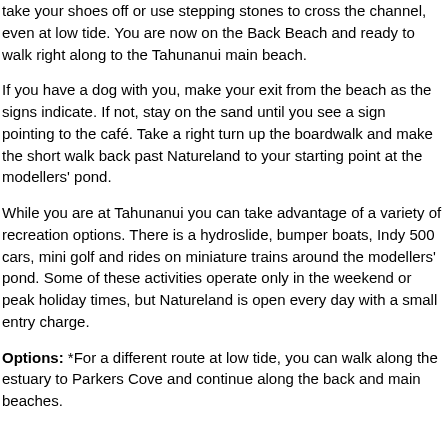take your shoes off or use stepping stones to cross the channel, even at low tide. You are now on the Back Beach and ready to walk right along to the Tahunanui main beach.
If you have a dog with you, make your exit from the beach as the signs indicate. If not, stay on the sand until you see a sign pointing to the café. Take a right turn up the boardwalk and make the short walk back past Natureland to your starting point at the modellers' pond.
While you are at Tahunanui you can take advantage of a variety of recreation options. There is a hydroslide, bumper boats, Indy 500 cars, mini golf and rides on miniature trains around the modellers' pond. Some of these activities operate only in the weekend or peak holiday times, but Natureland is open every day with a small entry charge.
Options: *For a different route at low tide, you can walk along the estuary to Parkers Cove and continue along the back and main beaches.